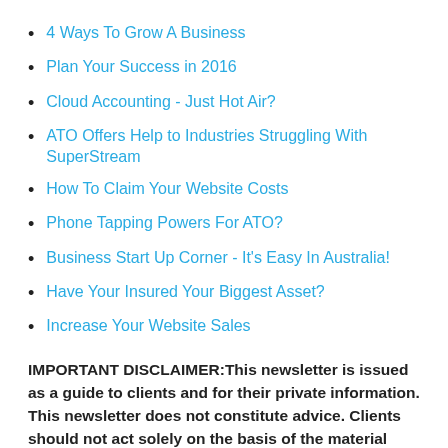4 Ways To Grow A Business
Plan Your Success in 2016
Cloud Accounting - Just Hot Air?
ATO Offers Help to Industries Struggling With SuperStream
How To Claim Your Website Costs
Phone Tapping Powers For ATO?
Business Start Up Corner - It's Easy In Australia!
Have Your Insured Your Biggest Asset?
Increase Your Website Sales
IMPORTANT DISCLAIMER: This newsletter is issued as a guide to clients and for their private information. This newsletter does not constitute advice. Clients should not act solely on the basis of the material contained in this